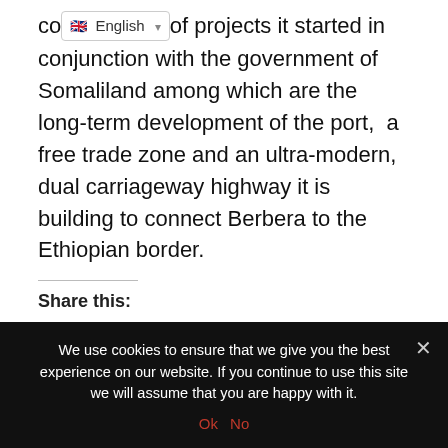co[English dropdown]of projects it started in conjunction with the government of Somaliland among which are the long-term development of the port, a free trade zone and an ultra-modern, dual carriageway highway it is building to connect Berbera to the Ethiopian border.
Share this:
Twitter | Reddit | WhatsApp | Telegram | LinkedIn | Pinterest | Skype | Email | Facebook | Pocket | Tumblr | Print
We use cookies to ensure that we give you the best experience on our website. If you continue to use this site we will assume that you are happy with it. Ok No